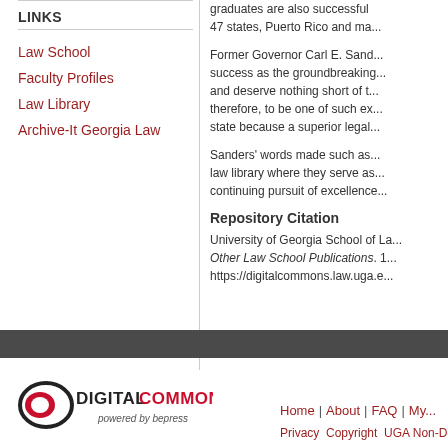LINKS
Law School
Faculty Profiles
Law Library
Archive-It Georgia Law
graduates are also successful in 47 states, Puerto Rico and ma...
Former Governor Carl E. Sand... success as the groundbreaking... and deserve nothing short of t... therefore, to be one of such ex... state because a superior legal...
Sanders' words made such as ... law library where they serve as... continuing pursuit of excellence...
Repository Citation
University of Georgia School of La... Other Law School Publications. 1... https://digitalcommons.law.uga.e...
[Figure (logo): DigitalCommons powered by bepress logo]
Home | About | FAQ | My... Privacy | Copyright | UGA Non-Dis...